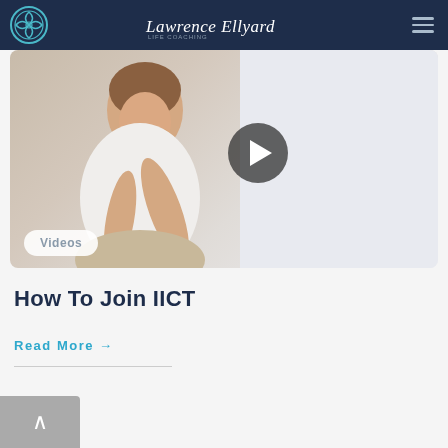Lawrence Ellyard
[Figure (photo): Smiling woman in white shirt seated, with a video play button overlay and a 'Videos' badge in the lower left corner]
How To Join IICT
Read More →